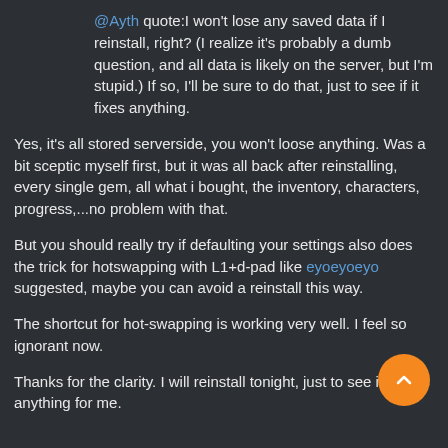@Ayth quote:I won't lose any saved data if I reinstall, right? (I realize it's probably a dumb question, and all data is likely on the server, but I'm stupid.) If so, I'll be sure to do that, just to see if it fixes anything.
Yes, it's all stored serverside, you won't loose anything. Was a bit sceptic myself first, but it was all back after reinstalling, every single gem, all what i bought, the inventory, characters, progress,...no problem with that.
But you should really try if defaulting your settings also does the trick for hotswapping with L1+d-pad like eyoeyoeyo suggested, maybe you can avoid a reinstall this way.
The shortcut for hot-swapping is working very well. I feel so ignorant now.
Thanks for the clarity. I will reinstall tonight, just to see if it fixes anything for me.